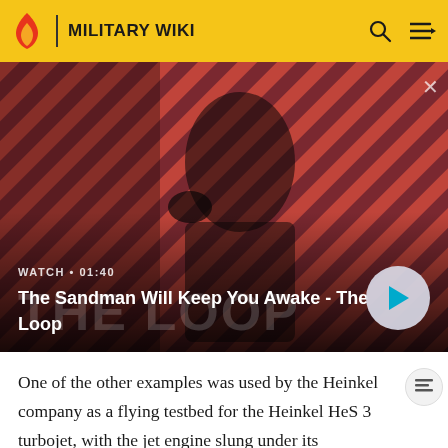MILITARY WIKI
[Figure (screenshot): Video thumbnail for 'The Sandman Will Keep You Awake - The Loop' showing a dark-clothed figure with a raven on shoulder against a red and black diagonal stripe background. Watch duration 01:40 shown.]
WATCH • 01:40
The Sandman Will Keep You Awake - The Loop
One of the other examples was used by the Heinkel company as a flying testbed for the Heinkel HeS 3 turbojet, with the jet engine slung under its fuselage. Although its pilot took off and landed using the He 118's